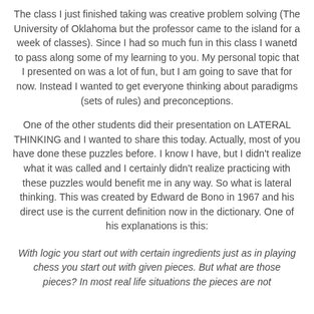The class I just finished taking was creative problem solving (The University of Oklahoma but the professor came to the island for a week of classes). Since I had so much fun in this class I wanetd to pass along some of my learning to you. My personal topic that I presented on was a lot of fun, but I am going to save that for now. Instead I wanted to get everyone thinking about paradigms (sets of rules) and preconceptions.
One of the other students did their presentation on LATERAL THINKING and I wanted to share this today. Actually, most of you have done these puzzles before. I know I have, but I didn't realize what it was called and I certainly didn't realize practicing with these puzzles would benefit me in any way. So what is lateral thinking. This was created by Edward de Bono in 1967 and his direct use is the current definition now in the dictionary. One of his explanations is this:
With logic you start out with certain ingredients just as in playing chess you start out with given pieces. But what are those pieces? In most real life situations the pieces are not